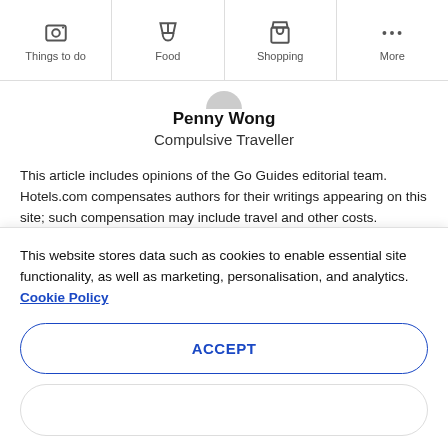Things to do | Food | Shopping | More
Penny Wong
Compulsive Traveller
This article includes opinions of the Go Guides editorial team. Hotels.com compensates authors for their writings appearing on this site; such compensation may include travel and other costs.
Related stories (partial, cut off)
This website stores data such as cookies to enable essential site functionality, as well as marketing, personalisation, and analytics. Cookie Policy
ACCEPT